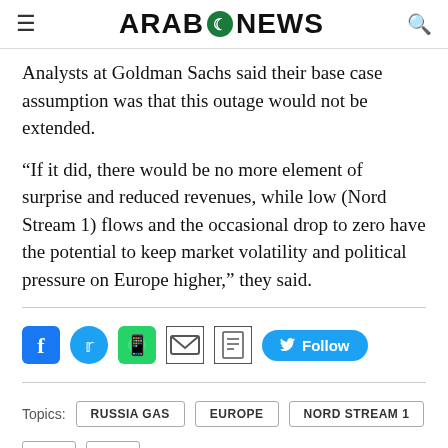ARAB NEWS
Analysts at Goldman Sachs said their base case assumption was that this outage would not be extended.
“If it did, there would be no more element of surprise and reduced revenues, while low (Nord Stream 1) flows and the occasional drop to zero have the potential to keep market volatility and political pressure on Europe higher,” they said.
[Figure (other): Social media share icons: Facebook, Twitter, WhatsApp, Email, Print, and a Twitter Follow button]
Topics: RUSSIA GAS  EUROPE  NORD STREAM 1